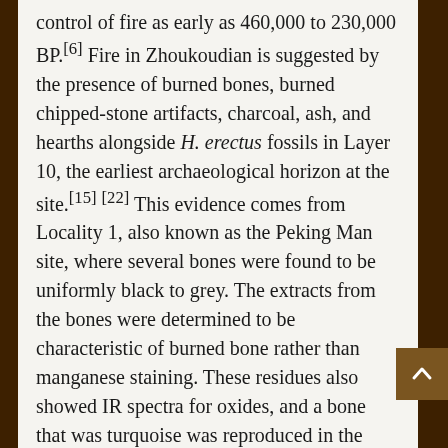control of fire as early as 460,000 to 230,000 BP.[6] Fire in Zhoukoudian is suggested by the presence of burned bones, burned chipped-stone artifacts, charcoal, ash, and hearths alongside H. erectus fossils in Layer 10, the earliest archaeological horizon at the site.[15][22] This evidence comes from Locality 1, also known as the Peking Man site, where several bones were found to be uniformly black to grey. The extracts from the bones were determined to be characteristic of burned bone rather than manganese staining. These residues also showed IR spectra for oxides, and a bone that was turquoise was reproduced in the laboratory by heating some of the other bones found in Layer 10. At the site, the same effect might have been due to natural heating, as the effect was produced on white, yellow, and black bones.[22] Layer 10 itself is described as ash with